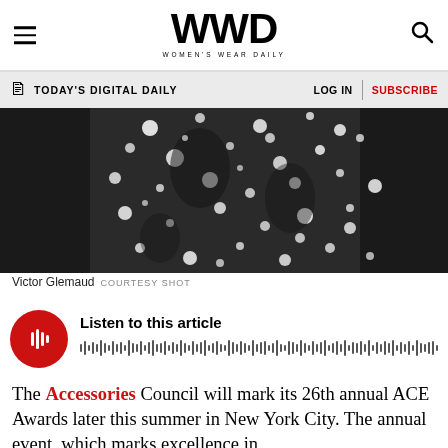WWD — Women's Wear Daily
TODAY'S DIGITAL DAILY   LOG IN   SUBSCRIBE
[Figure (photo): Black and white speckled/spotted fabric or garment detail photo — Victor Glemaud courtesy shot]
Victor Glemaud  COURTESY SHOT
[Figure (infographic): Audio player with red circular play button and waveform visualization. Text: Listen to this article]
The Accessories Council will mark its 26th annual ACE Awards later this summer in New York City. The annual event, which marks excellence in